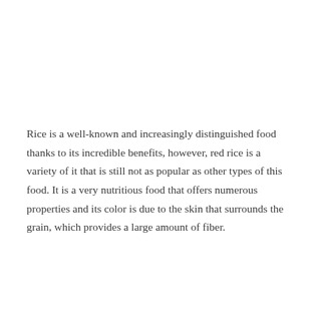Rice is a well-known and increasingly distinguished food thanks to its incredible benefits, however, red rice is a variety of it that is still not as popular as other types of this food. It is a very nutritious food that offers numerous properties and its color is due to the skin that surrounds the grain, which provides a large amount of fiber.